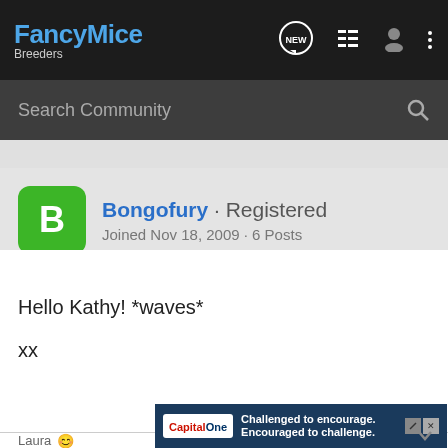FancyMice Breeders
Search Community
Bongofury · Registered
Joined Nov 18, 2009 · 6 Posts
#17 · Nov 18, 2009
Hello Kathy! *waves*

xx
[Figure (screenshot): Capital One advertisement banner: 'Challenged to encourage. Encouraged to challenge.']
Laura
Bongo Fu...ian